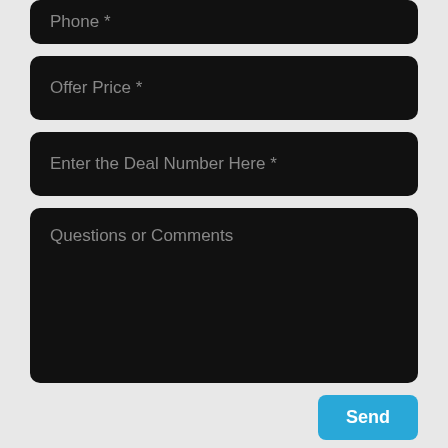Phone *
Offer Price *
Enter the Deal Number Here *
Questions or Comments
Send
Sale Option
180,000.00 - Asking Price.
10,000.00 - Estimated Repair Cost